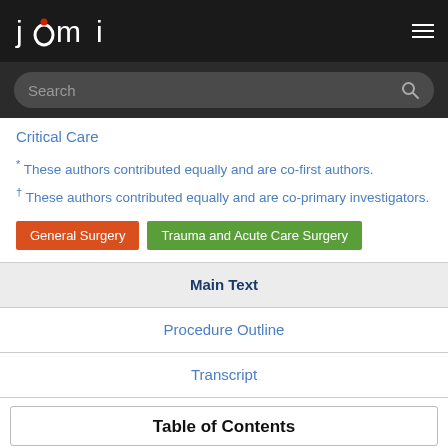JOMI
Critical Care
* These authors contributed equally and are co-first authors.
† These authors contributed equally and are co-primary investigators.
General Surgery | Trauma and Acute Care Surgery
Main Text
Procedure Outline
Transcript
Table of Contents